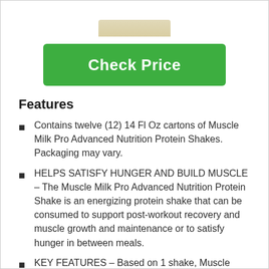[Figure (photo): Partial product image at top of page, cropped]
Check Price
Features
Contains twelve (12) 14 Fl Oz cartons of Muscle Milk Pro Advanced Nutrition Protein Shakes. Packaging may vary.
HELPS SATISFY HUNGER AND BUILD MUSCLE – The Muscle Milk Pro Advanced Nutrition Protein Shake is an energizing protein shake that can be consumed to support post-workout recovery and muscle growth and maintenance or to satisfy hunger in between meals.
KEY FEATURES – Based on 1 shake, Muscle